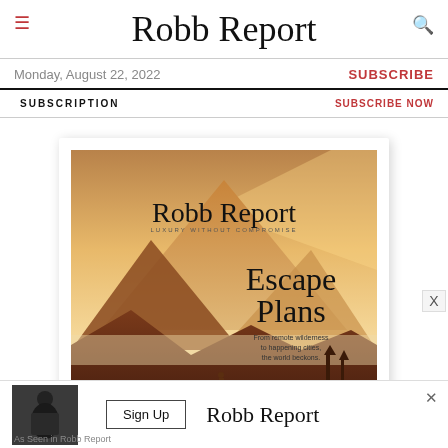Robb Report
Monday, August 22, 2022
SUBSCRIBE
SUBSCRIPTION   SUBSCRIBE NOW
[Figure (illustration): Robb Report magazine cover showing 'Escape Plans' issue with golden mountain landscape and tagline 'From remote wilderness to happening cities, the world beckons.']
[Figure (photo): Advertisement banner for Robb Report featuring a man in suit, Sign Up button, and Robb Report logo]